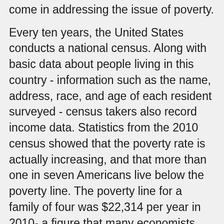come in addressing the issue of poverty.
Every ten years, the United States conducts a national census. Along with basic data about people living in this country - information such as the name, address, race, and age of each resident surveyed - census takers also record income data. Statistics from the 2010 census showed that the poverty rate is actually increasing, and that more than one in seven Americans live below the poverty line. The poverty line for a family of four was $22,314 per year in 2010- a figure that many economists believe is too low. It's very hard for a family of four to get by on that amount.
According to the Census Bureau:
The nation's official poverty rate in 2010 was 15.1 percent, up from 14.3 percent in 2009 - the third consecutive annual increase in the